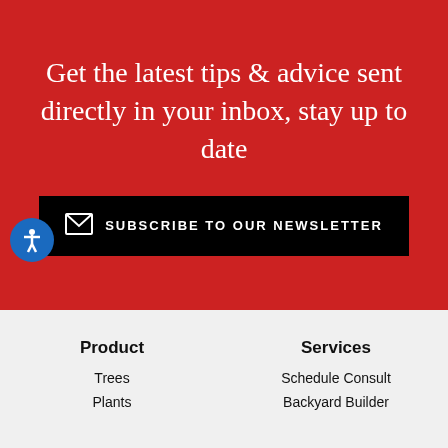Get the latest tips & advice sent directly in your inbox, stay up to date
SUBSCRIBE TO OUR NEWSLETTER
Product
Trees
Plants
Services
Schedule Consult
Backyard Builder